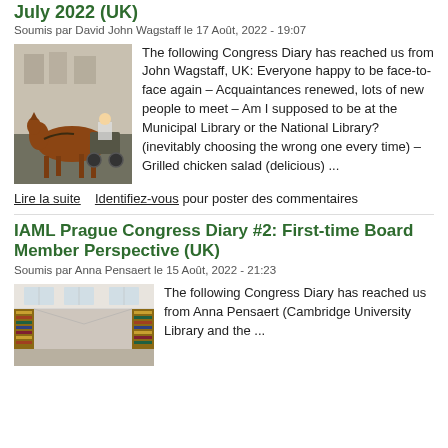July 2022 (UK)
Soumis par David John Wagstaff le 17 Août, 2022 - 19:07
[Figure (photo): A horse-drawn carriage on a city street]
The following Congress Diary has reached us from John Wagstaff, UK: Everyone happy to be face-to-face again – Acquaintances renewed, lots of new people to meet – Am I supposed to be at the Municipal Library or the National Library? (inevitably choosing the wrong one every time) – Grilled chicken salad (delicious) ...
Lire la suite   Identifiez-vous pour poster des commentaires
IAML Prague Congress Diary #2: First-time Board Member Perspective (UK)
Soumis par Anna Pensaert le 15 Août, 2022 - 21:23
[Figure (photo): Interior of a library with bookshelves and natural light]
The following Congress Diary has reached us from Anna Pensaert (Cambridge University Library and the ...